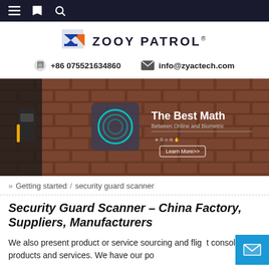Navigation bar with menu, bookmark, and search icons
[Figure (logo): Zooy Patrol logo with stylized 'Z' icon in blue and orange, followed by bold text 'ZOOY PATROL' with registered trademark symbol]
+86 075521634860   info@zyactech.com
[Figure (photo): Hero banner showing a hand holding a yellow security scanner device next to a fingerprint reader mounted on a brick wall. Overlay text reads 'The Best Math Between Online and Biometric' with icons and a 'Learn More>>' button.]
» Getting started / security guard scanner
Security Guard Scanner – China Factory, Suppliers, Manufacturers
We also present product or service sourcing and flight consolidation products and services. We have our po